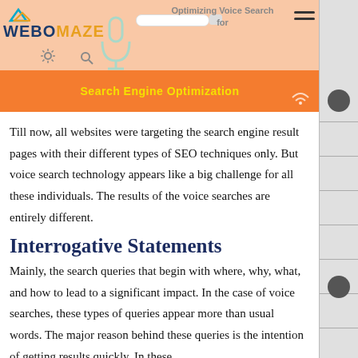[Figure (illustration): WebOMaze header banner with logo, microphone icon, search bar, gear icon, orange bottom strip with 'Search Engine Optimization' text, and title 'Optimizing Voice Search for']
Till now, all websites were targeting the search engine result pages with their different types of SEO techniques only. But voice search technology appears like a big challenge for all these individuals. The results of the voice searches are entirely different.
Interrogative Statements
Mainly, the search queries that begin with where, why, what, and how to lead to a significant impact. In the case of voice searches, these types of queries appear more than usual words. The major reason behind these queries is the intention of getting results quickly. In these